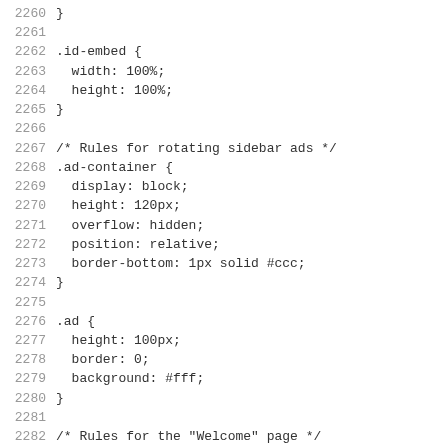Code listing lines 2260-2291 showing CSS rules for .id-embed, .ad-container, .ad, and .site-welcome selectors